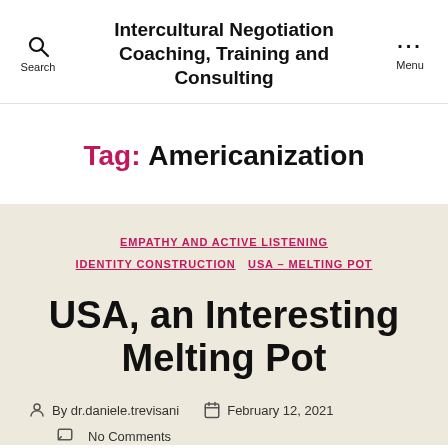Intercultural Negotiation Coaching, Training and Consulting
Tag: Americanization
EMPATHY AND ACTIVE LISTENING
IDENTITY CONSTRUCTION
USA – MELTING POT
USA, an Interesting Melting Pot
By dr.daniele.trevisani  February 12, 2021
No Comments